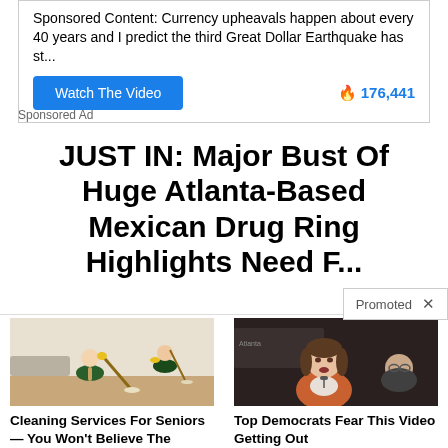Sponsored Content: Currency upheavals happen about every 40 years and I predict the third Great Dollar Earthquake has st...
Watch The Video   🔥 176,441
Sponsored Ad
JUST IN: Major Bust Of Huge Atlanta-Based Mexican Drug Ring Highlights Need F...
Promoted ×
[Figure (photo): Two women in cleaning uniforms mopping a floor]
Cleaning Services For Seniors — You Won't Believe The Prices
🔥 6,133
[Figure (photo): Woman in orange jacket speaking at a podium]
Top Democrats Fear This Video Getting Out
🔥 2,678